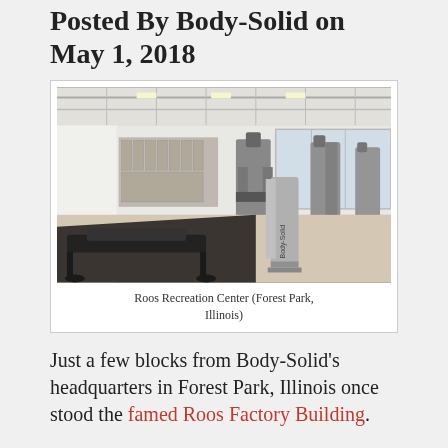Posted By Body-Solid on May 1, 2018
[Figure (photo): Interior of Roos Recreation Center gym in Forest Park, Illinois, showing fitness equipment including weight machines and benches in a bright open space.]
Roos Recreation Center (Forest Park, Illinois)
Just a few blocks from Body-Solid's headquarters in Forest Park, Illinois once stood the famed Roos Factory Building.
The building—built in 1918—housed the Roos Cedar Chest